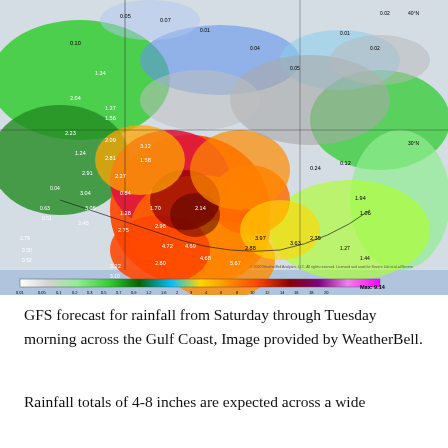[Figure (map): GFS rainfall forecast map showing precipitation totals from Saturday through Tuesday morning across the Gulf Coast region of the United States. Color-coded rainfall amounts ranging from near-zero (white/gray) to 20+ inches (purple/magenta), with reds and oranges indicating 4-8+ inches concentrated along the Gulf Coast. Numerical rainfall values annotated throughout the map. A color scale bar runs along the bottom showing values from 0.01 to 20 inches. 'Max: 9.14' shown at bottom right. Image credited to WeatherBell Analytics LLC.]
GFS forecast for rainfall from Saturday through Tuesday morning across the Gulf Coast, Image provided by WeatherBell.
Rainfall totals of 4-8 inches are expected across a wide